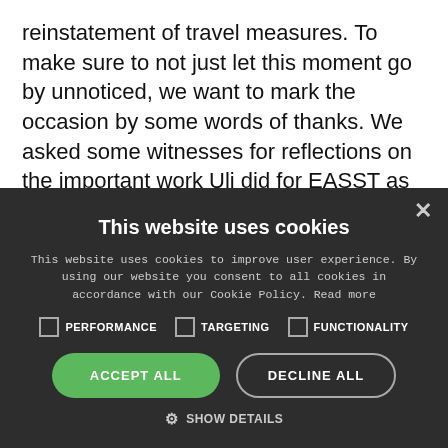reinstatement of travel measures. To make sure to not just let this moment go by unnoticed, we want to mark the occasion by some words of thanks. We asked some witnesses for reflections on the important work Uli did for EASST as an association, both as its president and during earlier years including the organisation of the EASST meeting in Vienna. We hope you will join us in thanking her in person during the EASST meeting in Madrid.
[Figure (screenshot): Cookie consent dialog overlay on dark background. Title: 'This website uses cookies'. Description text about cookie use. Three unchecked checkboxes labeled PERFORMANCE, TARGETING, FUNCTIONALITY. Two buttons: 'ACCEPT ALL' (green) and 'DECLINE ALL' (outlined). 'SHOW DETAILS' link with gear icon. Close X button in top right.]